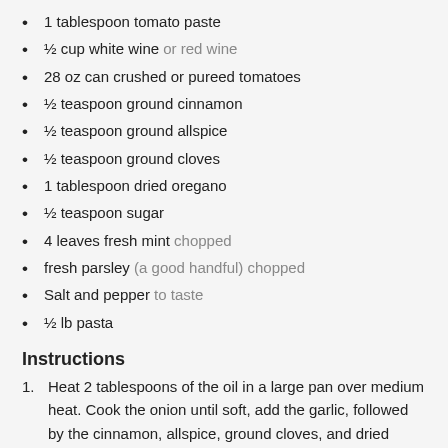1 tablespoon tomato paste
½ cup white wine or red wine
28 oz can crushed or pureed tomatoes
½ teaspoon ground cinnamon
½ teaspoon ground allspice
½ teaspoon ground cloves
1 tablespoon dried oregano
½ teaspoon sugar
4 leaves fresh mint chopped
fresh parsley (a good handful) chopped
Salt and pepper to taste
½ lb pasta
Instructions
Heat 2 tablespoons of the oil in a large pan over medium heat. Cook the onion until soft, add the garlic, followed by the cinnamon, allspice, ground cloves, and dried oregano. Cook to release the flavors.
Fry until fully cooked and no pink shows at all in the meat (about 8 minutes). Add the tomato paste and stir into the